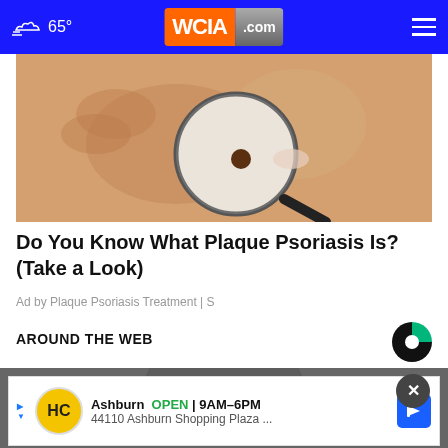65° WCIA.com
[Figure (photo): Close-up of a hand holding a magnifying glass over a skin mole on someone's arm, examining a brown spot on skin]
Do You Know What Plaque Psoriasis Is? (Take a Look)
Ad by Plaque Psoriasis Treatment | S
AROUND THE WEB
[Figure (logo): Taboola logo - circular icon with green and dark halves]
[Figure (photo): Partial photo preview of a person, bottom section of page]
[Figure (other): Advertisement banner: HC logo, Ashburn OPEN 9AM-6PM, 44110 Ashburn Shopping Plaza ..., with navigation arrow icon]